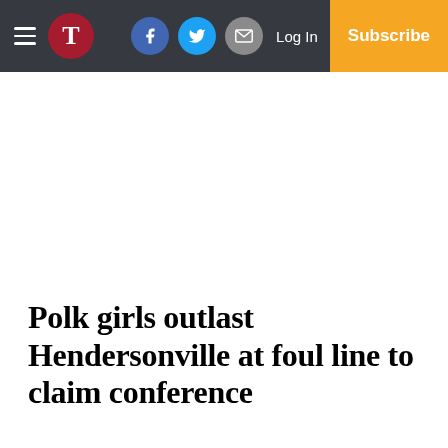T | [Facebook] [Twitter] [Mail] Log In | Subscribe
Polk girls outlast Hendersonville at foul line to claim conference